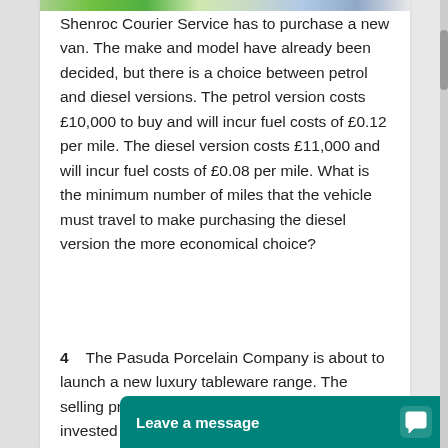Shenroc Courier Service has to purchase a new van. The make and model have already been decided, but there is a choice between petrol and diesel versions. The petrol version costs £10,000 to buy and will incur fuel costs of £0.12 per mile. The diesel version costs £11,000 and will incur fuel costs of £0.08 per mile. What is the minimum number of miles that the vehicle must travel to make purchasing the diesel version the more economical choice?
4    The Pasuda Porcelain Company is about to launch a new luxury tableware range. The selling price for a set will be £90. To ma... invested £3...